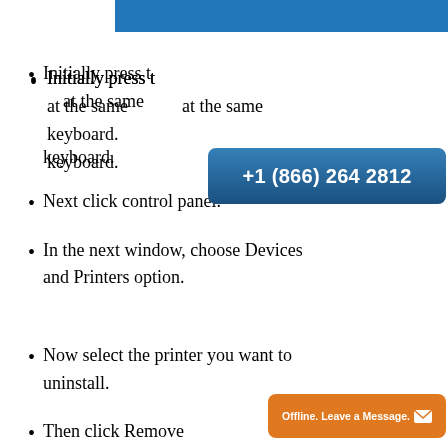Initially press the [Windows] key at the same time on your keyboard.
[Figure (other): Blue rounded rectangle button overlay showing phone number +1 (866) 264 2812]
Next click control panel.
In the next window, choose Devices and Printers option.
Now select the printer you want to uninstall.
Then click Remove device from the window.
[Figure (other): Orange rounded rectangle overlay reading: Offline. Leave a Message. with envelope icon]